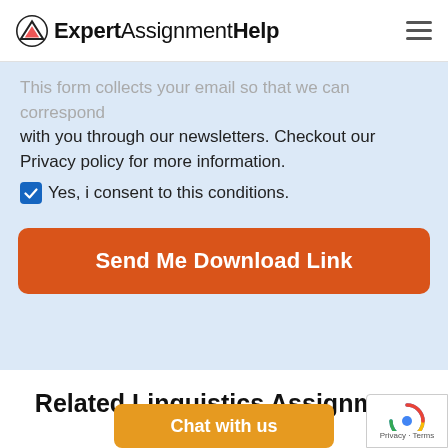ExpertAssignmentHelp
This form collects your email so that we can correspond with you through our newsletters. Checkout our Privacy policy for more information.
Yes, i consent to this conditions.
Send Me Download Link
Related Linguistics Assignment Sample
Chat with us